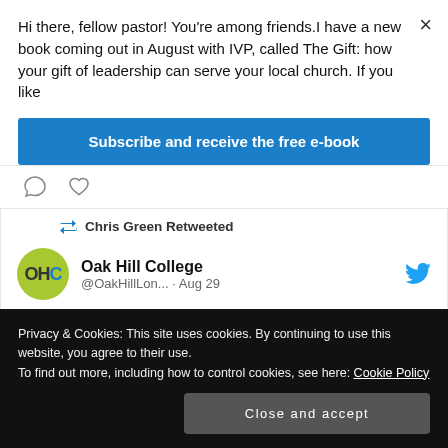Hi there, fellow pastor! You're among friends.I have a new book coming out in August with IVP, called The Gift: how your gift of leadership can serve your local church. If you like
Subscribe and receive the free e-book
[Figure (screenshot): Twitter/social media embed showing Chris Green Retweeted Oak Hill College (@OakHillLon...) · Aug 29, with tweet text: We're delighted to be hosting these upcoming events:]
Privacy & Cookies: This site uses cookies. By continuing to use this website, you agree to their use.
To find out more, including how to control cookies, see here: Cookie Policy
Close and accept
Mission and the Meaning Crisis